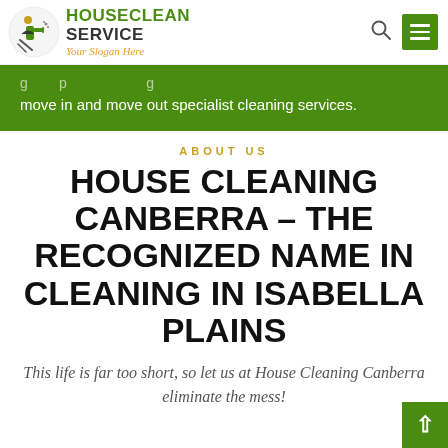[Figure (logo): HouseClean Service logo with cleaning spray icon, bold text HOUSECLEAN SERVICE and italic orange slogan 'Your Slogan Here']
move in and move out specialist cleaning services.
ABOUT US
HOUSE CLEANING CANBERRA – THE RECOGNIZED NAME IN CLEANING IN ISABELLA PLAINS
This life is far too short, so let us at House Cleaning Canberra eliminate the mess!